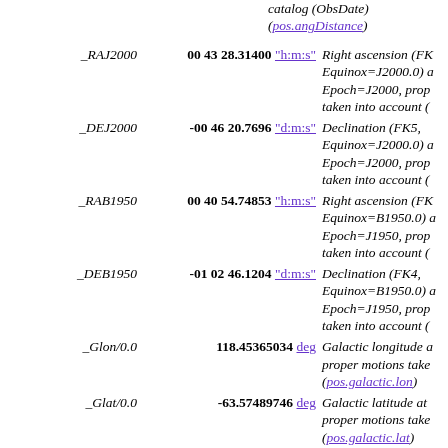catalog (ObsDate) (pos.angDistance)
| Field | Value | Description |
| --- | --- | --- |
| _RAJ2000 | 00 43 28.31400 "h:m:s" | Right ascension (FK5, Equinox=J2000.0) at Epoch=J2000, prop taken into account ( |
| _DEJ2000 | -00 46 20.7696 "d:m:s" | Declination (FK5, Equinox=J2000.0) at Epoch=J2000, prop taken into account ( |
| _RAB1950 | 00 40 54.74853 "h:m:s" | Right ascension (FK4, Equinox=B1950.0) at Epoch=J1950, prop taken into account ( |
| _DEB1950 | -01 02 46.1204 "d:m:s" | Declination (FK4, Equinox=B1950.0) at Epoch=J1950, prop taken into account ( |
| _Glon/0.0 | 118.45365034 deg | Galactic longitude at proper motions take (pos.galactic.lon) |
| _Glat/0.0 | -63.57489746 deg | Galactic latitude at proper motions take (pos.galactic.lat) |